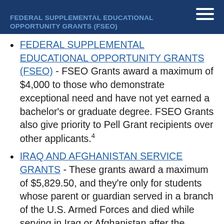FEDERAL SUPPLEMENTAL EDUCATIONAL OPPORTUNITY GRANTS (FSEO)
FEDERAL SUPPLEMENTAL EDUCATIONAL OPPORTUNITY GRANTS (FSEO) - FSEO Grants award a maximum of $4,000 to those who demonstrate exceptional need and have not yet earned a bachelor's or graduate degree. FSEO Grants also give priority to Pell Grant recipients over other applicants.4
IRAQ AND AFGHANISTAN SERVICE GRANTS - These grants award a maximum of $5,829.50, and they're only for students whose parent or guardian served in a branch of the U.S. Armed Forces and died while serving in Iraq or Afghanistan after the events of 9/11.5
TEACHER EDUCATION ASSISTANCE FOR COLLEGE AND HIGHER EDUCATION